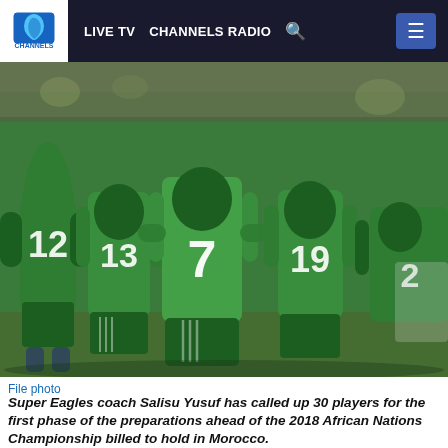CHANNELS  LIVE TV  CHANNELS RADIO
[Figure (photo): Nigerian Super Eagles football players in green jerseys huddled together from behind, showing jersey numbers 12, 13, 7, 19, 21]
File photo
Super Eagles coach Salisu Yusuf has called up 30 players for the first phase of the preparations ahead of the 2018 African Nations Championship billed to hold in Morocco.
Familiar faces like Ikechukwu Ezenwa, Stephen Eze, Osas Okoro, Rabiu Ali, Ifeanyi Ifeanyi, Kingsley Eduwo, Sikiru Olatubosun and Anthony Okpotu made the list.
Yusuf said the invited players would test their strength with the country